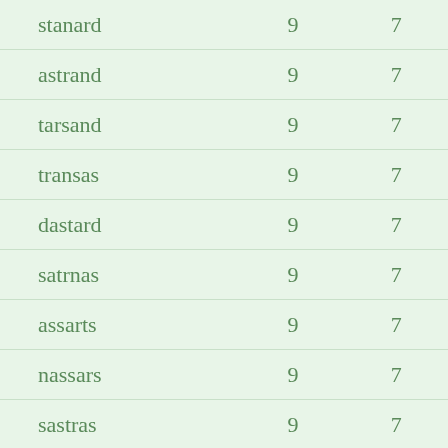| stanard | 9 | 7 |
| astrand | 9 | 7 |
| tarsand | 9 | 7 |
| transas | 9 | 7 |
| dastard | 9 | 7 |
| satrnas | 9 | 7 |
| assarts | 9 | 7 |
| nassars | 9 | 7 |
| sastras | 9 | 7 |